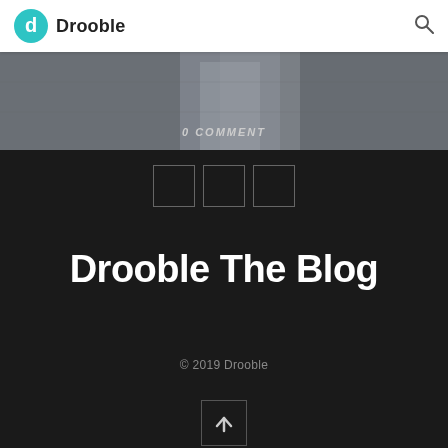Drooble
[Figure (photo): Photo strip showing partial figure of person, with '0 COMMENT' overlay text in italics]
0 COMMENT
[Figure (other): Three square social media icon placeholders in a row]
Drooble The Blog
© 2019 Drooble
[Figure (other): Back to top button: square with upward arrow icon]